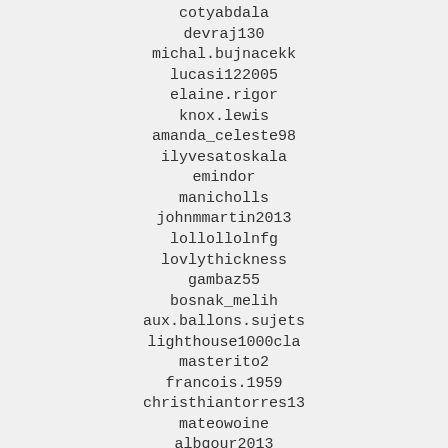cotyabdala
devraj130
michal.bujnacekk
lucasi122005
elaine.rigor
knox.lewis
amanda_celeste98
ilyvesatoskala
emindor
manicholls
johnmmartin2013
lollollolnfg
lovlythickness
gambaz55
bosnak_melih
aux.ballons.sujets
lighthouse1000cla
masterito2
francois.1959
christhiantorres13
mateowoine
albqour2013
jimi9houser
ceza81_